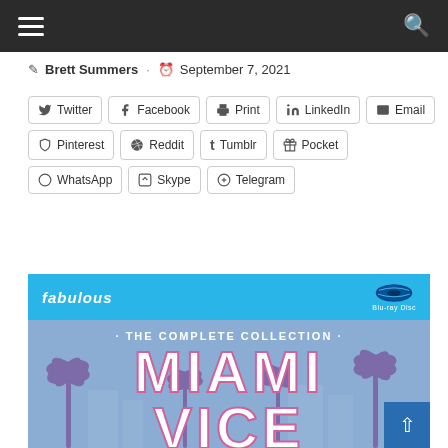Navigation bar with hamburger menu and search icon
Brett Summers · September 7, 2021
Share buttons: Twitter, Facebook, Print, LinkedIn, Email, Pinterest, Reddit, Tumblr, Pocket, WhatsApp, Skype, Telegram
[Figure (photo): Miami Vice - The Complete Collection Blu-ray disc cover showing 'fabulous' label, Blu-ray Disc logo, '· THE COMPLETE COLLECTION ·' text, and large stylized 'MIAMI VICE' title text over a purple-blue background with palm trees]